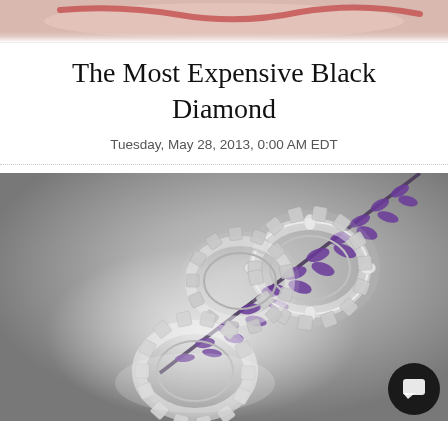[Figure (photo): Partial view of a top banner image — appears to show a pink/red ribbon or jewelry item cropped at top]
The Most Expensive Black Diamond
Tuesday, May 28, 2013, 0:00 AM EDT
[Figure (photo): Photograph of three diamond eternity rings arranged on a light gray surface with a purple lavender flower branch in the background. The rings are silver/platinum with round brilliant diamonds set in an eternity band style.]